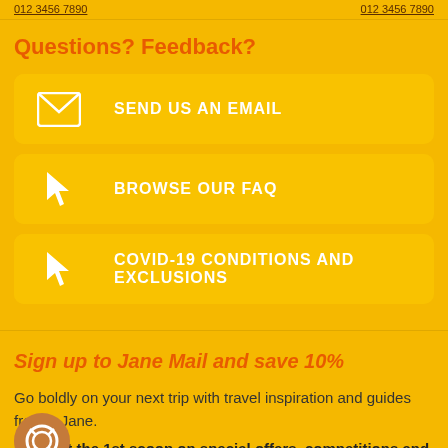012 3456 7890  012 3456 7890
Questions? Feedback?
SEND US AN EMAIL
BROWSE OUR FAQ
COVID-19 CONDITIONS AND EXCLUSIONS
Sign up to Jane Mail and save 10%
Go boldly on your next trip with travel inspiration and guides from h Jane.
Plus get the 1st scoop on special offers, competitions and